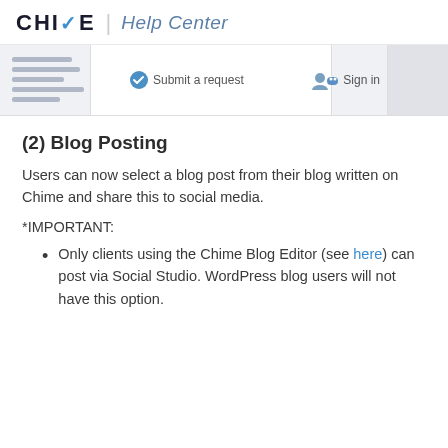CHIME Help Center
[Figure (screenshot): Partial screenshot of a web navigation interface showing menu items on the left, a search/content area in the middle, and 'Submit a request' and 'Sign in' buttons on the right.]
(2) Blog Posting
Users can now select a blog post from their blog written on Chime and share this to social media.
*IMPORTANT:
Only clients using the Chime Blog Editor (see here) can post via Social Studio. WordPress blog users will not have this option.